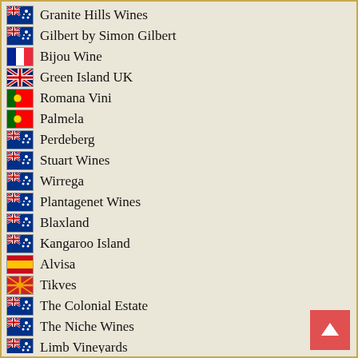Granite Hills Wines
Gilbert by Simon Gilbert
Bijou Wine
Green Island UK
Romana Vini
Palmela
Perdeberg
Stuart Wines
Wirrega
Plantagenet Wines
Blaxland
Kangaroo Island
Alvisa
Tikves
The Colonial Estate
The Niche Wines
Limb Vineyards
Mad Wine
Vetunna - Cantine Bettona
Byron and Harold